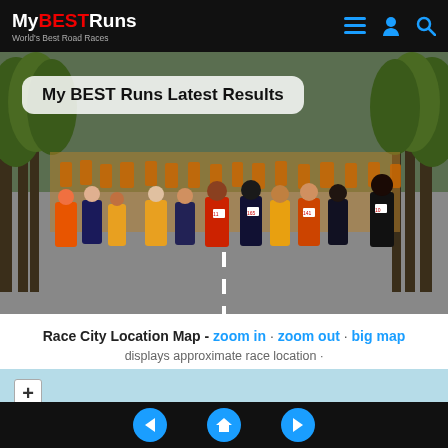My BEST Runs - World's Best Road Races
[Figure (photo): Large crowd of marathon runners on a city street lined with trees, with overlay label 'My BEST Runs Latest Results']
Race City Location Map - zoom in · zoom out · big map
displays approximate race location ·
[Figure (map): Interactive map preview with light blue background and zoom-in (+) button]
Navigation: back, home, forward